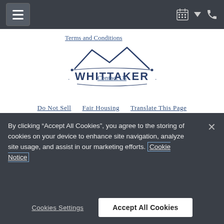Navigation bar with menu icon and utility icons
Terms and Conditions
Privacy Policy
[Figure (logo): Whittaker logo with mountain/roof silhouette and text WHITTAKER]
Contact Us
Do Not Sell
Fair Housing
Translate This Page
By clicking “Accept All Cookies”, you agree to the storing of cookies on your device to enhance site navigation, analyze site usage, and assist in our marketing efforts. Cookie Notice
Cookies Settings
Accept All Cookies